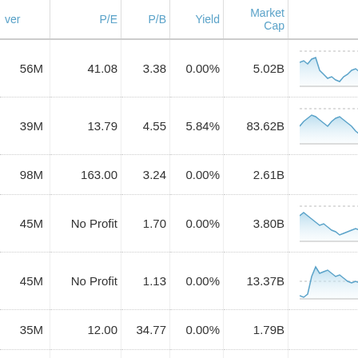| Power | P/E | P/B | Yield | Market Cap | Chart |
| --- | --- | --- | --- | --- | --- |
| 56M | 41.08 | 3.38 | 0.00% | 5.02B | [chart] |
| 39M | 13.79 | 4.55 | 5.84% | 83.62B | [chart] |
| 98M | 163.00 | 3.24 | 0.00% | 2.61B |  |
| 45M | No Profit | 1.70 | 0.00% | 3.80B | [chart] |
| 45M | No Profit | 1.13 | 0.00% | 13.37B | [chart] |
| 35M | 12.00 | 34.77 | 0.00% | 1.79B |  |
| 45M | 42.36 | 1.75 | 0.34% | 8.12B |  |